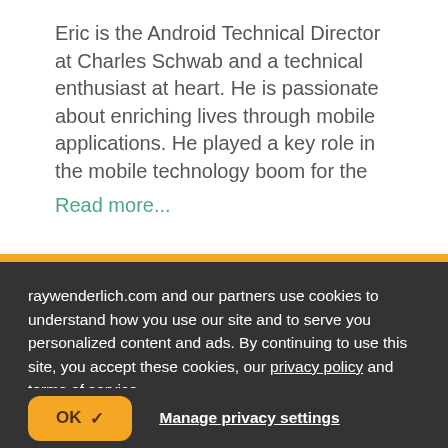Eric is the Android Technical Director at Charles Schwab and a technical enthusiast at heart. He is passionate about enriching lives through mobile applications. He played a key role in the mobile technology boom for the Read more...
[Figure (photo): Portrait photo of Fuad Kamal, a man in a dark suit]
Fuad Kamal [Twitter icon]
raywenderlich.com and our partners use cookies to understand how you use our site and to serve you personalized content and ads. By continuing to use this site, you accept these cookies, our privacy policy and terms of service.
OK ✓   Manage privacy settings